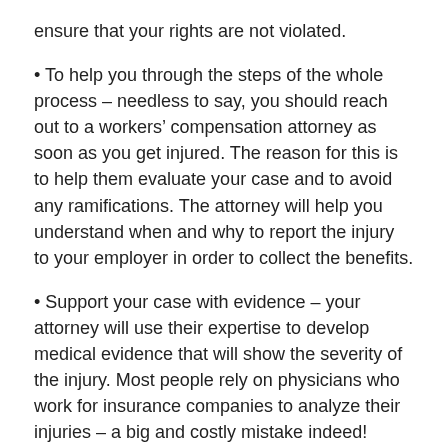ensure that your rights are not violated.
• To help you through the steps of the whole process – needless to say, you should reach out to a workers' compensation attorney as soon as you get injured. The reason for this is to help them evaluate your case and to avoid any ramifications. The attorney will help you understand when and why to report the injury to your employer in order to collect the benefits.
• Support your case with evidence – your attorney will use their expertise to develop medical evidence that will show the severity of the injury. Most people rely on physicians who work for insurance companies to analyze their injuries – a big and costly mistake indeed!
When should you hire a workers' compensation lawyer?